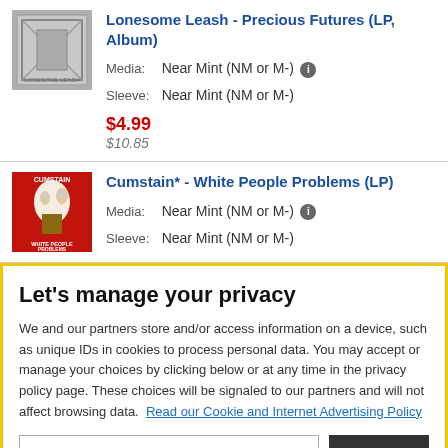Lonesome Leash - Precious Futures (LP, Album)
Media: Near Mint (NM or M-)
Sleeve: Near Mint (NM or M-)
$4.99
$10.85
[Figure (photo): Album cover thumbnail for Cumstain* - White People Problems (LP), red background with illustrated figures]
Cumstain* - White People Problems (LP)
Media: Near Mint (NM or M-)
Sleeve: Near Mint (NM or M-)
Let's manage your privacy
We and our partners store and/or access information on a device, such as unique IDs in cookies to process personal data. You may accept or manage your choices by clicking below or at any time in the privacy policy page. These choices will be signaled to our partners and will not affect browsing data. Read our Cookie and Internet Advertising Policy